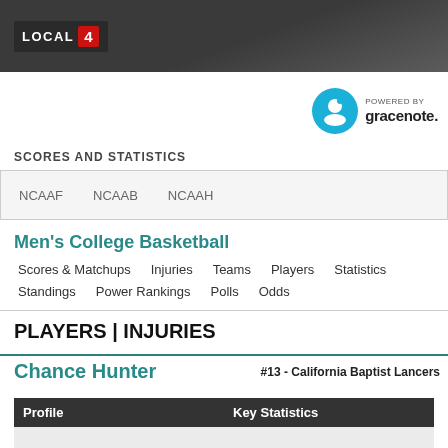LOCAL 4
[Figure (logo): Gracenote logo - circular blue icon with 'POWERED BY gracenote.' text]
SCORES AND STATISTICS
NCAAF  NCAAB  NCAAH
Men's College Basketball
Scores & Matchups  Injuries  Teams  Players  Statistics  Standings  Power Rankings  Polls  Odds
PLAYERS | INJURIES
Chance Hunter
#13 - California Baptist Lancers
| Profile | Key Statistics |
| --- | --- |
|  |  |